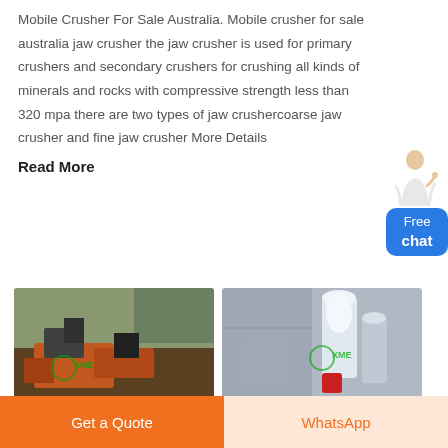Mobile Crusher For Sale Australia. Mobile crusher for sale australia jaw crusher the jaw crusher is used for primary crushers and secondary crushers for crushing all kinds of minerals and rocks with compressive strength less than 320 mpa there are two types of jaw crushercoarse jaw crusher and fine jaw crusher More Details
Read More
[Figure (photo): Photo of mobile crusher machinery outdoors with orange equipment and rocky terrain]
[Figure (photo): Photo of industrial grinding mill equipment inside a factory building]
Get a Quote
WhatsApp